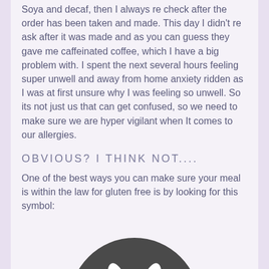Soya and decaf, then I always re check after the order has been taken and made. This day I didn't re ask after it was made and as you can guess they gave me caffeinated coffee, which I have a big problem with. I spent the next several hours feeling super unwell and away from home anxiety ridden as I was at first unsure why I was feeling so unwell. So its not just us that can get confused, so we need to make sure we are hyper vigilant when It comes to our allergies.
OBVIOUS? I THINK NOT....
One of the best ways you can make sure your meal is within the law for gluten free is by looking for this symbol:
[Figure (illustration): A dark grey circular symbol (crossed grain / gluten free certification logo) partially visible at the bottom of the page]